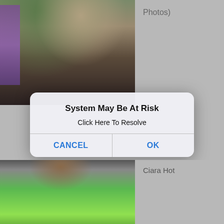[Figure (screenshot): Mobile phone screenshot showing a background with two photos and a system alert dialog overlay. Top photo shows a person in swimwear. Bottom photo shows a person in a green dress. A dialog box in the center reads 'System May Be At Risk / Click Here To Resolve' with CANCEL and OK buttons.]
Photos)
System May Be At Risk
Click Here To Resolve
CANCEL
OK
Ciara Hot